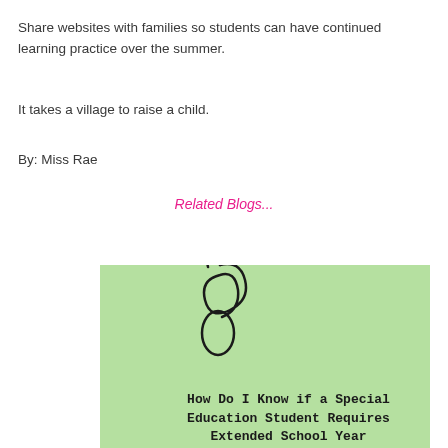Share websites with families so students can have continued learning practice over the summer.
It takes a village to raise a child.
By: Miss Rae
Related Blogs...
[Figure (illustration): Green card with a decorative swirl/paperclip illustration at the top and text reading 'How Do I Know if a Special Education Student Requires Extended School Year']